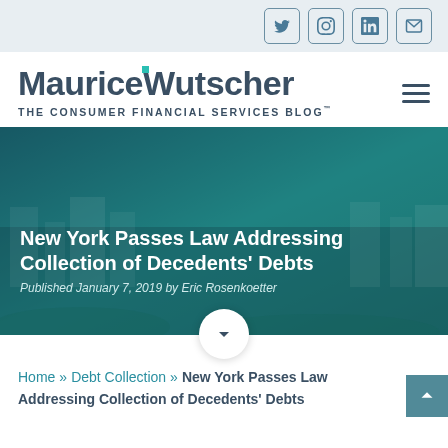Social media icons: Twitter, Instagram, LinkedIn, Email
MauriceWutscher THE CONSUMER FINANCIAL SERVICES BLOG™
[Figure (illustration): Hero banner with teal/green gradient overlay on a city background photo]
New York Passes Law Addressing Collection of Decedents' Debts
Published January 7, 2019 by Eric Rosenkoetter
Home » Debt Collection » New York Passes Law Addressing Collection of Decedents' Debts